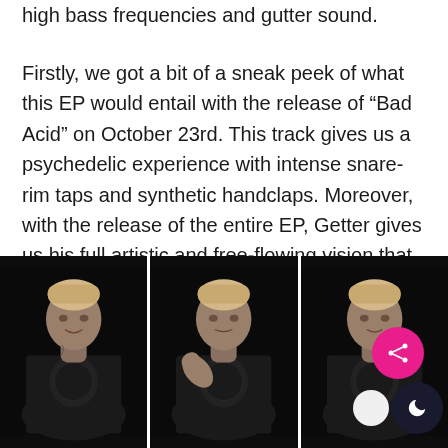high bass frequencies and gutter sound.
Firstly, we got a bit of a sneak peek of what this EP would entail with the release of “Bad Acid” on October 23rd. This track gives us a psychedelic experience with intense snare-rim taps and synthetic handclaps. Moreover, with the release of the entire EP, Getter gives us his full artistic and free-flowing vision that goes beyond what we could have imagined.
[Figure (photo): Three side-by-side photos of a young man with tattoos wearing a black t-shirt with a graphic print, photographed against a black background in different poses.]